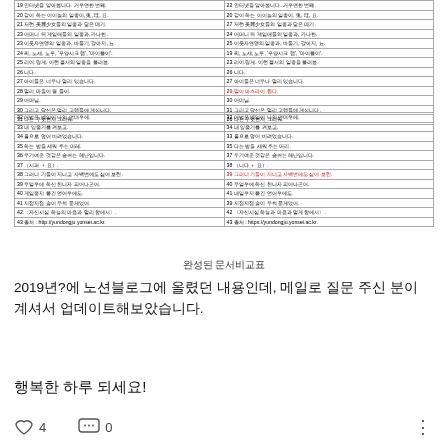| 19 인터넷을 알아봅니다. 거우면한 번째. | 22 인터넷을 알아봅니다. 거우면한 번째. |
| 20 같이 하는 이이놀의 일종이, 兎, 珪, 묘. | 20 같이 하는 이이놀의 일종이, 兎, 珪, 묘. |
| 21 저런 美麗少女들의 일종과 닮은 데기. | 27 저런 美麗少女들의 일종과 닮은 데기. |
| 23 어머니 뒤 게임애들의 일종과, 카나한. | 24 어머니 뒤 게임애들의 일종과, 카나한. |
| 23 이웃자연맹의 일종과, 바둘기, 강아지, 뇨. | 25 이웃자연맹의 일종과, 바둘기, 강아지, 뇨. |
| 24 찌, 노새, 노루, '푸양시크 랩', '마이불이'. | 19 찌, 노새, 노루, '푸양시크 랩', '마이불이'. |
| 25 리어.링게. 이런 클서의 일종을 불러봄. | 23 리이.링게. 이런 클서의 일종을 불러봄. |
| 26 니다. | 26 니다. |
| 27 아이들은 너무나 멀리 있습니다. | 27 아이들은 너무나 멀리 있습니다. |
| 28 멀리 마을이 뭘 들이. | 29 멀이 마스라이 됩다. |
| 29 어머님. | 30 어미님. |
| 30 그리고 당신은 멀리 고랩들에 게십니다. | 31 그리고 당신은 멀리 고랩들에 게십니다. |
| 31 나는 무엇인지 그리워. | 26 나는 무엇인지 그리워. |
| 32 어법은 별일이 나의 먼더우에. | 32 어법은 별일이 나의 먼더우에. |
| 33 내 잎줄기를 켜보고. | 34 내 잎줄기를 켜보고. |
| 34 훌으로 덮어 비려었습니다. | 33 훌으로 덮어 비려었습니다. |
| 35 하는 밤을 세워 주는 머레. | 35 다는 밤을 새워 주는 머리. |
| 36 무기여운 것같은 숨쉬는 헤난입니다. | 37 두기여운 것같은 숨쉬는 헤난입니다. |
| 37 （시퍼 ＋ 묘）. | 38 （니다 ＋ 묘）. |
| 38 그러니 기들이 지니고 사백번에도 싫어 보린. | 39 그러니 기들이 지니고 사백번에도 싫어 보린. |
| 39 무얼우에 하신 친니자 피어나곤어. | 40 무얼우에 하신 친니자 피어나곤어. |
| 40 게임중지 붙긴 언어우에도. | 41 내일우지 붙긴 언어우에도. |
| 41 지점지점 솔이 무척 묻게었어. | 39 지점지점 솔이 무척 묻게었어. |
| 42 〈자신시심 하늘의 마음과 멀리 함에서〉. | 42 〈자신시심 하늘과 마음과 멀게 함에서〉. |
| 43 출처 : http://yundongju.yonsei.ac.kr. | 43 출처 : https://yundongju.yonsei.ac.kr. |
완성된 문서비교표
2019년?에 노션블로그에 올렸던 내용인데, 메일로 질문 주신 분이 계셔서 업데이트해보았습니다.
행복한 하루 되세요!